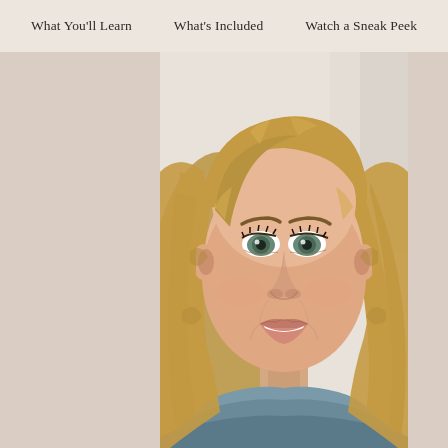What You'll Learn   What's Included   Watch a Sneak Peek
[Figure (photo): A smiling woman with long blonde hair and blue-green eyes, wearing a grey turtleneck sweater. She is photographed from the shoulders up against a light background. This appears to be a course instructor photo on an educational website.]